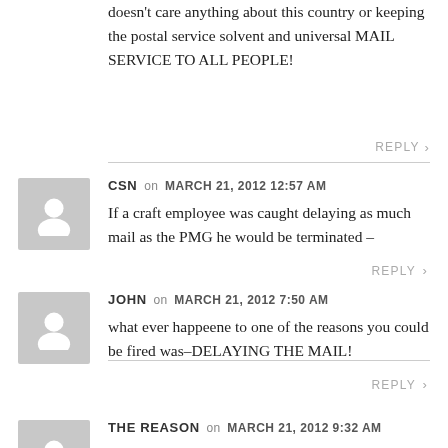doesn't care anything about this country or keeping the postal service solvent and universal MAIL SERVICE TO ALL PEOPLE!
REPLY >
CSN on MARCH 21, 2012 12:57 AM
If a craft employee was caught delaying as much mail as the PMG he would be terminated –
REPLY >
JOHN on MARCH 21, 2012 7:50 AM
what ever happeene to one of the reasons you could be fired was–DELAYING THE MAIL!
REPLY >
THE REASON on MARCH 21, 2012 9:32 AM